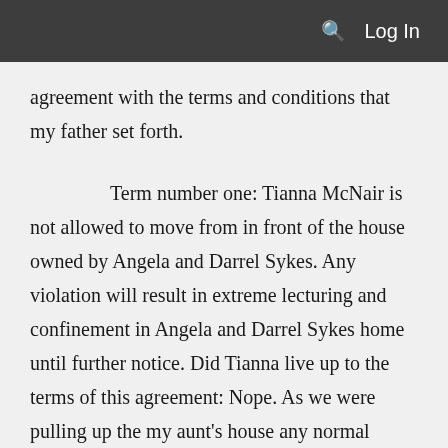Log In
agreement with the terms and conditions that my father set forth.
Term number one: Tianna McNair is not allowed to move from in front of the house owned by Angela and Darrel Sykes. Any violation will result in extreme lecturing and confinement in Angela and Darrel Sykes home until further notice. Did Tianna live up to the terms of this agreement: Nope. As we were pulling up the my aunt's house any normal person would be able to